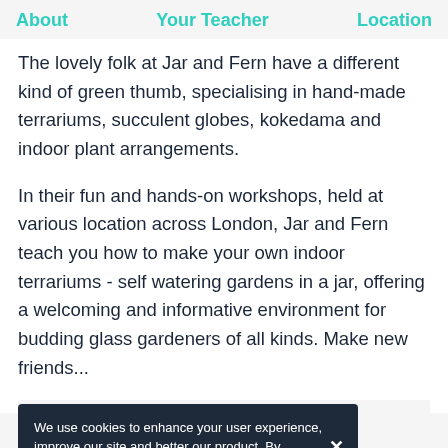About  Your Teacher  Location
The lovely folk at Jar and Fern have a different kind of green thumb, specialising in hand-made terrariums, succulent globes, kokedama and indoor plant arrangements.
In their fun and hands-on workshops, held at various location across London, Jar and Fern teach you how to make your own indoor terrariums - self watering gardens in a jar, offering a welcoming and informative environment for budding glass gardeners of all kinds. Make new friends...
We use cookies to enhance your user experience, improve our site and better our product. By continuing to browse your agree to our cookie policy.
--.-- pp